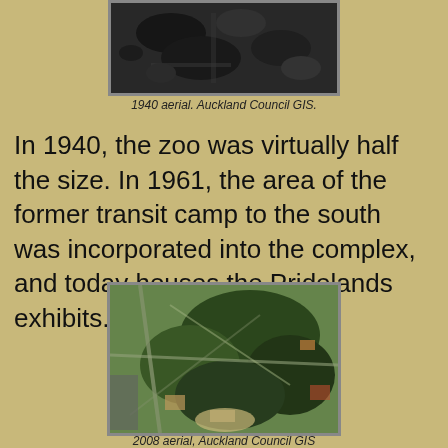[Figure (photo): 1940 black and white aerial photograph of Auckland Zoo area]
1940 aerial. Auckland Council GIS.
In 1940, the zoo was virtually half the size. In 1961, the area of the former transit camp to the south was incorporated into the complex, and today houses the Pridelands exhibits.
[Figure (photo): 2008 colour aerial photograph of Auckland Zoo and surroundings, Auckland Council GIS]
2008 aerial, Auckland Council GIS